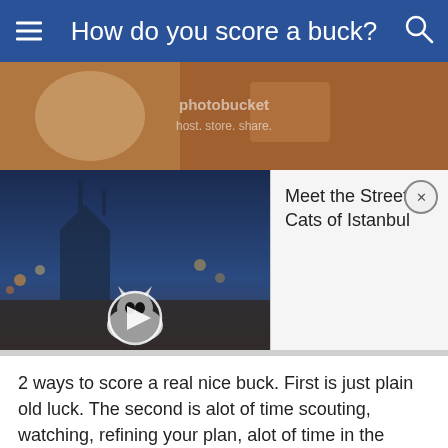How do you score a buck?
[Figure (screenshot): Top image area showing a cat photograph with Photobucket watermark overlay (host. store. share.)]
[Figure (screenshot): Video thumbnail of street scene in Istanbul with a cat and play button, with popup card showing 'Meet the Street Cats of Istanbul' and a close button]
2 ways to score a real nice buck. First is just plain old luck. The second is alot of time scouting, watching, refining your plan, alot of time in the woods and being patient.
What would a deer like that be around? Water,good food sources and some good cover for bedding somewhere near the water and food.